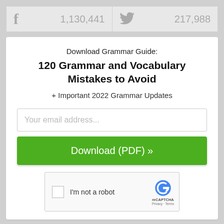[Figure (infographic): Social share bar with Facebook icon showing 1,130,441 and Twitter bird icon showing 217,988]
Download Grammar Guide:
120 Grammar and Vocabulary Mistakes to Avoid
+ Important 2022 Grammar Updates
[Figure (screenshot): Email input field with placeholder 'Your email address...' and green Download (PDF) » button]
[Figure (screenshot): reCAPTCHA widget with checkbox and 'I'm not a robot' label, reCAPTCHA logo, Privacy and Terms links]